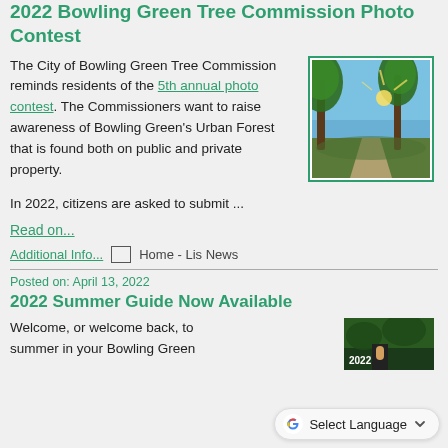2022 Bowling Green Tree Commission Photo Contest
[Figure (photo): Sunlit trees along a path in a park, golden light filtering through branches]
The City of Bowling Green Tree Commission reminds residents of the 5th annual photo contest. The Commissioners want to raise awareness of Bowling Green's Urban Forest that is found both on public and private property.
In 2022, citizens are asked to submit ...
Read on...
Additional Info...  Home - Lis News
Posted on: April 13, 2022
2022 Summer Guide Now Available
Welcome, or welcome back, to summer in your Bowling Green
[Figure (photo): 2022 Summer Guide cover image with green foliage and a child]